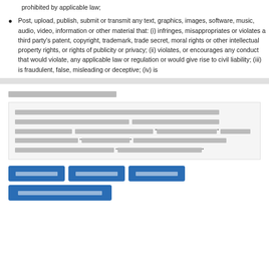prohibited by applicable law;
Post, upload, publish, submit or transmit any text, graphics, images, software, music, audio, video, information or other material that: (i) infringes, misappropriates or violates a third party's patent, copyright, trademark, trade secret, moral rights or other intellectual property rights, or rights of publicity or privacy; (ii) violates, or encourages any conduct that would violate, any applicable law or regulation or would give rise to civil liability; (iii) is fraudulent, false, misleading or deceptive; (iv) is
[Thai text - section header]
[Thai text - body paragraph with quoted terms]
[Figure (other): Four blue buttons with Thai text labels arranged in two rows]